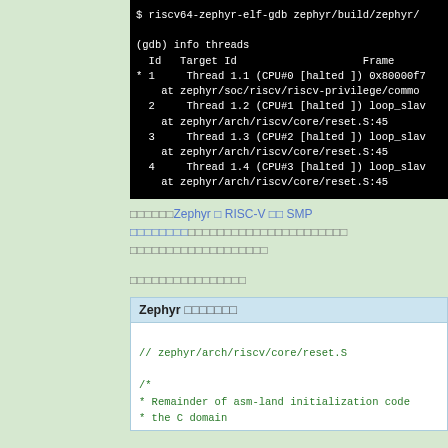[Figure (screenshot): Terminal screenshot showing GDB info threads output for a RISC-V Zephyr SMP debug session. Shows 4 threads, Thread 1.1 on CPU#0, Threads 1.2-1.4 on CPU#1-3 all halted at zephyr/arch/riscv/core/reset.S:45]
このサンプルはZephyr の RISC-V の SMP サポートのデバッグについてのサンプルコードを紹介しています。
サンプルコードの説明です。
Zephyr のソースコード
[Figure (screenshot): Code snippet showing zephyr/arch/riscv/core/reset.S with comment block: /* * Remainder of asm-land initialization code * the C domain]